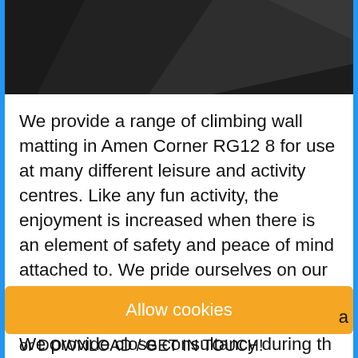[Figure (photo): Dark angular surface, likely a climbing wall or similar structure, photographed close up.]
We provide a range of climbing wall matting in Amen Corner RG12 8 for use at many different leisure and activity centres. Like any fun activity, the enjoyment is increased when there is an element of safety and peace of mind attached to. We pride ourselves on our service and wherever necessary we will visit your site to get an accurate measure. We provide close consultancy during the design process to ensure all your needs are met with regards to performance, safety and budget to provide you peace of mind. All our protective ma are then manufactured and shipped complete to installed either by our team or in many cases we
Allow cookies
a
or DOWNLOAD / GET IN TOUCH!